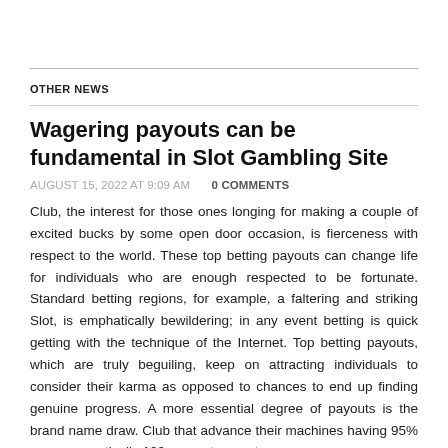OTHER NEWS
Wagering payouts can be fundamental in Slot Gambling Site
AUGUST 15, 2022 AT 9:09 AM   0 COMMENTS
Club, the interest for those ones longing for making a couple of excited bucks by some open door occasion, is fierceness with respect to the world. These top betting payouts can change life for individuals who are enough respected to be fortunate. Standard betting regions, for example, a faltering and striking Slot, is emphatically bewildering; in any event betting is quick getting with the technique of the Internet. Top betting payouts, which are truly beguiling, keep on attracting individuals to consider their karma as opposed to chances to end up finding genuine progress. A more essential degree of payouts is the brand name draw. Club that advance their machines having 95% or even practically 100 percent payout